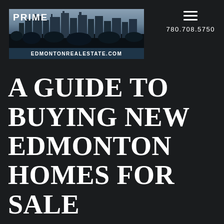[Figure (logo): Prime Edmonton Real Estate logo featuring city skyline photograph with 'PRIME' text at top left and 'EDMONTONREALESTATE.COM' banner at bottom]
780.708.5750
A GUIDE TO BUYING NEW EDMONTON HOMES FOR SALE